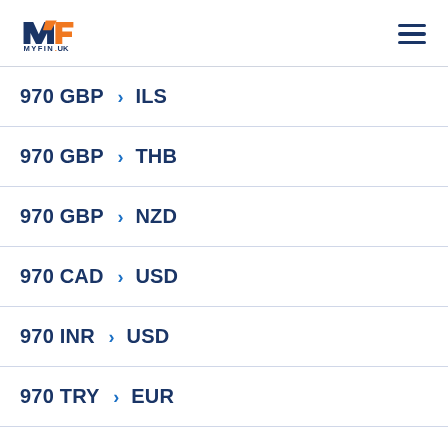MYFIN.UK
970 GBP > ILS
970 GBP > THB
970 GBP > NZD
970 CAD > USD
970 INR > USD
970 TRY > EUR
970 USD > AUD
970 EUR > CZK